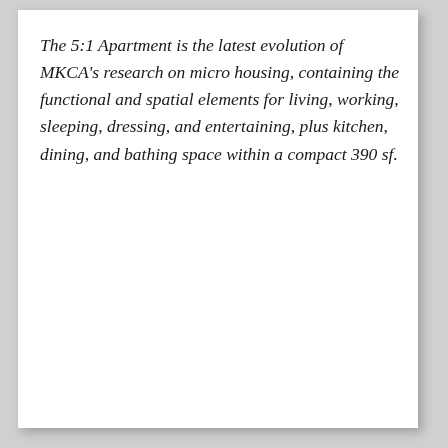The 5:1 Apartment is the latest evolution of MKCA's research on micro housing, containing the functional and spatial elements for living, working, sleeping, dressing, and entertaining, plus kitchen, dining, and bathing space within a compact 390 sf.